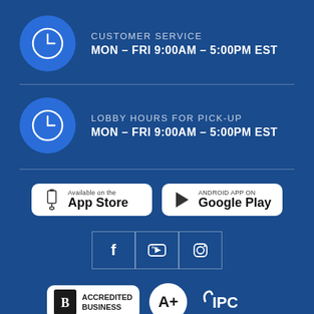[Figure (infographic): Blue clock icon circle with CUSTOMER SERVICE label and hours MON – FRI 9:00AM – 5:00PM EST]
CUSTOMER SERVICE
MON – FRI 9:00AM – 5:00PM EST
[Figure (infographic): Blue clock icon circle with LOBBY HOURS FOR PICK-UP label and hours MON – FRI 9:00AM – 5:00PM EST]
LOBBY HOURS FOR PICK-UP
MON – FRI 9:00AM – 5:00PM EST
[Figure (logo): Available on the App Store button]
[Figure (logo): Android App on Google Play button]
[Figure (infographic): Social media icons: Facebook, YouTube, Instagram]
[Figure (logo): BBB Accredited Business logo with A+ rating and IPC logo]